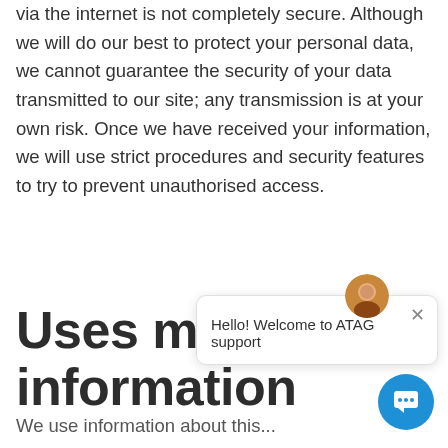via the internet is not completely secure. Although we will do our best to protect your personal data, we cannot guarantee the security of your data transmitted to our site; any transmission is at your own risk. Once we have received your information, we will use strict procedures and security features to try to prevent unauthorised access.
Back to top of page
Uses m… information
[Figure (screenshot): Chat popup widget with avatar icon showing 'Hello! Welcome to ATAG support' message and a blue circular chat button in the bottom right]
We use information about this...